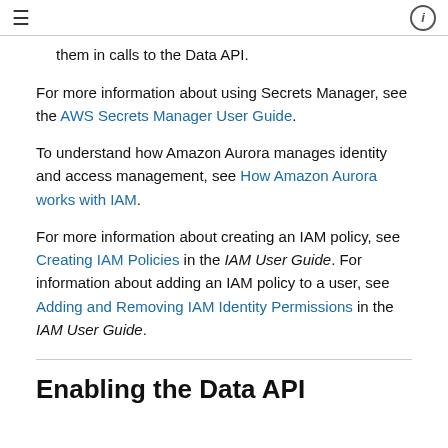≡  ⓘ
them in calls to the Data API.
For more information about using Secrets Manager, see the AWS Secrets Manager User Guide.
To understand how Amazon Aurora manages identity and access management, see How Amazon Aurora works with IAM.
For more information about creating an IAM policy, see Creating IAM Policies in the IAM User Guide. For information about adding an IAM policy to a user, see Adding and Removing IAM Identity Permissions in the IAM User Guide.
Enabling the Data API